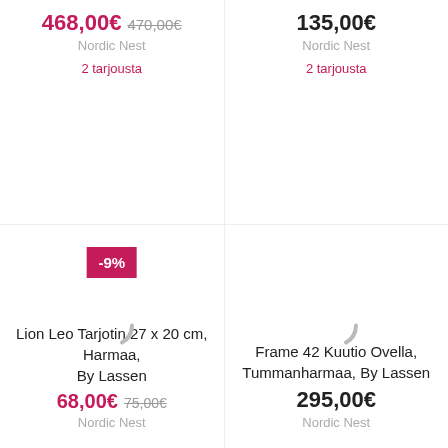468,00€ 470,00€
Nordic Nest
2 tarjousta
135,00€
Nordic Nest
2 tarjousta
[Figure (other): Discount badge showing -9%]
[Figure (other): Loading spinner partial arc, left product]
[Figure (other): Loading spinner partial arc, right product]
Lion Leo Tarjotin 27 x 20 cm, Harmaa, By Lassen
68,00€ 75,00€
Nordic Nest
Frame 42 Kuutio Ovella, Tummanharmaa, By Lassen
295,00€
Nordic Nest